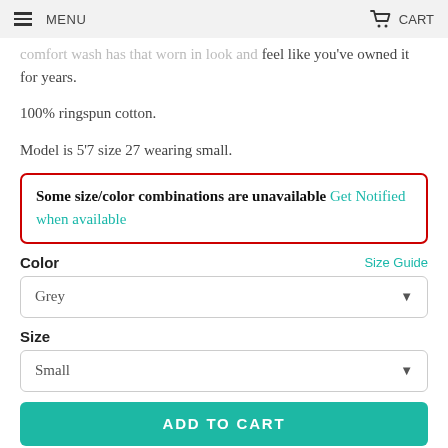MENU   CART
comfort wash has that worn in look and feel like you've owned it for years.
100% ringspun cotton.
Model is 5'7 size 27 wearing small.
Some size/color combinations are unavailable Get Notified when available
Color   Size Guide
Grey
Size
Small
ADD TO CART